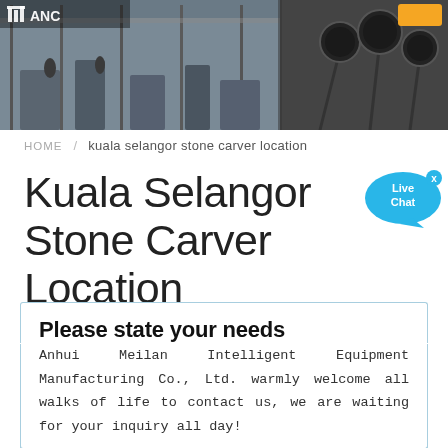[Figure (photo): Header banner showing a factory/industrial interior on the left and microphones on the right, with ANC logo overlay at top left]
HOME / kuala selangor stone carver location
Kuala Selangor Stone Carver Location
Please state your needs
Anhui Meilan Intelligent Equipment Manufacturing Co., Ltd. warmly welcome all walks of life to contact us, we are waiting for your inquiry all day!